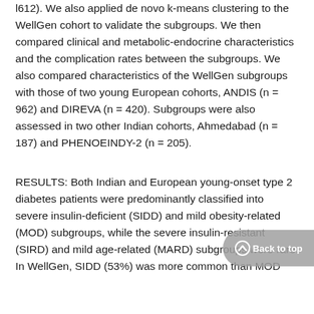l612). We also applied de novo k-means clustering to the WellGen cohort to validate the subgroups. We then compared clinical and metabolic-endocrine characteristics and the complication rates between the subgroups. We also compared characteristics of the WellGen subgroups with those of two young European cohorts, ANDIS (n = 962) and DIREVA (n = 420). Subgroups were also assessed in two other Indian cohorts, Ahmedabad (n = 187) and PHENOEINDY-2 (n = 205).
RESULTS: Both Indian and European young-onset type 2 diabetes patients were predominantly classified into severe insulin-deficient (SIDD) and mild obesity-related (MOD) subgroups, while the severe insulin-resistant (SIRD) and mild age-related (MARD) subgroups were rare. In WellGen, SIDD (53%) was more common than MOD (30%), contrary to findings in Europeans (Swedish: 36%...